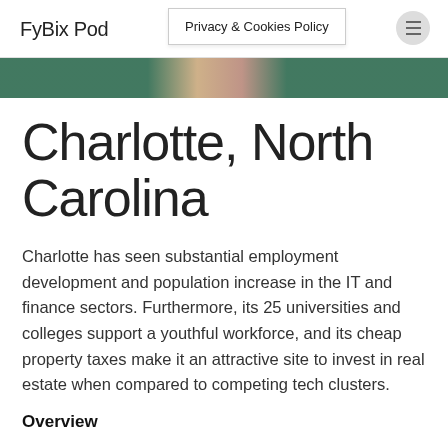FyBix Pod
Privacy & Cookies Policy
[Figure (photo): Partial view of a person, cropped image strip with green and brown tones]
Charlotte, North Carolina
Charlotte has seen substantial employment development and population increase in the IT and finance sectors. Furthermore, its 25 universities and colleges support a youthful workforce, and its cheap property taxes make it an attractive site to invest in real estate when compared to competing tech clusters.
Overview